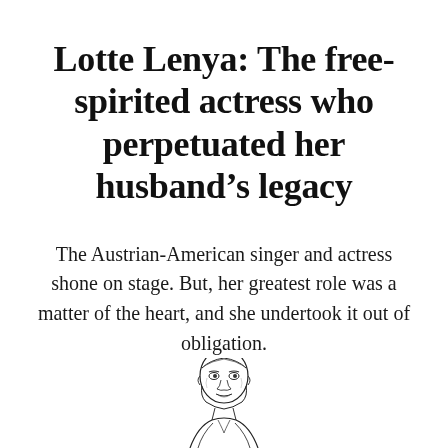Lotte Lenya: The free-spirited actress who perpetuated her husband's legacy
The Austrian-American singer and actress shone on stage. But, her greatest role was a matter of the heart, and she undertook it out of obligation.
[Figure (illustration): Black and white line drawing illustration of a man's face and upper body, partially cropped at the bottom of the page.]